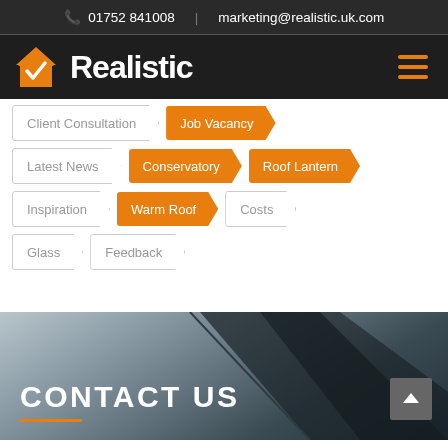01752 841008 | marketing@realistic.uk.com
[Figure (logo): Realistic company logo with orange house icon and white bold text 'Realistic' on dark background, hamburger menu icon on right]
Client Consultation
Job Vacancy
Latest News
Conservatory
Roof Lantern
Inspiration
Warm Roof
Costs
Glass
Feedback
[Figure (photo): Dark architectural roof/window frame photo with grey sky background]
CONTACT US